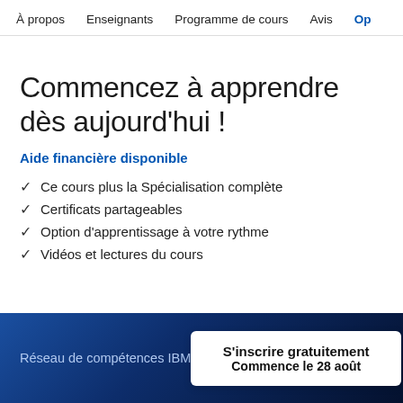À propos   Enseignants   Programme de cours   Avis   Op
Commencez à apprendre dès aujourd'hui !
Aide financière disponible
Ce cours plus la Spécialisation complète
Certificats partageables
Option d'apprentissage à votre rythme
Vidéos et lectures du cours
Réseau de compétences IBM
S'inscrire gratuitement
Commence le 28 août